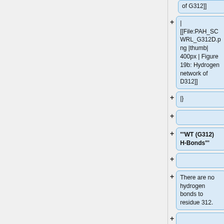of G312]]
|
[[File:PAH_SCWRL_G312D.png |thumb| 400px | Figure 19b: Hydrogen network of D312]]
|}
'''WT (G312) H-Bonds'''
There are no hydrogen bonds to residue 312.
'''Mutant (Q261) H-Bonds'''